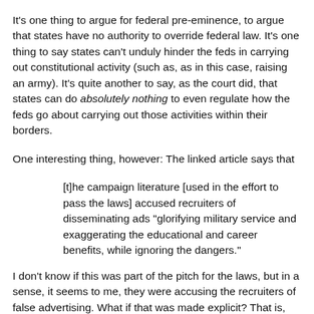It's one thing to argue for federal pre-eminence, to argue that states have no authority to override federal law. It's one thing to say states can't unduly hinder the feds in carrying out constitutional activity (such as, as in this case, raising an army). It's quite another to say, as the court did, that states can do absolutely nothing to even regulate how the feds go about carrying out those activities within their borders.
One interesting thing, however: The linked article says that
[t]he campaign literature [used in the effort to pass the laws] accused recruiters of disseminating ads "glorifying military service and exaggerating the educational and career benefits, while ignoring the dangers."
I don't know if this was part of the pitch for the laws, but in a sense, it seems to me, they were accusing the recruiters of false advertising. What if that was made explicit? That is, what if towns and states said "Sure, recruiters, you can recruit, even among teenagers and others without the worldly experience to judge your claims. But you have to be